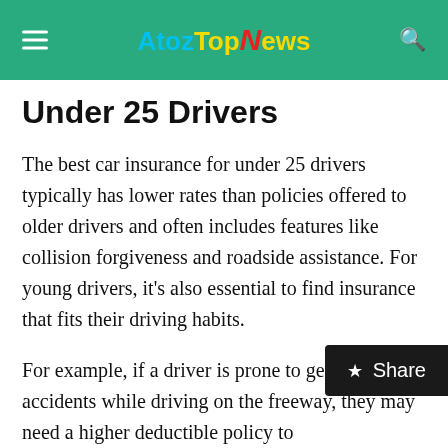AtozTopNews
Under 25 Drivers
The best car insurance for under 25 drivers typically has lower rates than policies offered to older drivers and often includes features like collision forgiveness and roadside assistance. For young drivers, it's also essential to find insurance that fits their driving habits.
For example, if a driver is prone to getting into accidents while driving on the freeway, they may need a higher deductible policy to